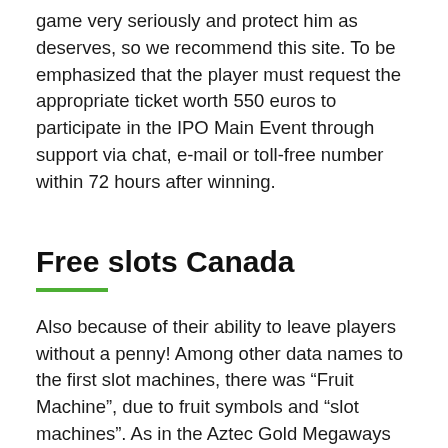game very seriously and protect him as deserves, so we recommend this site. To be emphasized that the player must request the appropriate ticket worth 550 euros to participate in the IPO Main Event through support via chat, e-mail or toll-free number within 72 hours after winning.
Free slots Canada
Also because of their ability to leave players without a penny! Among other data names to the first slot machines, there was “Fruit Machine”, due to fruit symbols and “slot machines”. As in the Aztec Gold Megaways slot here, even here the symbols descend to cascade on the other, also called “function a fall”, so the player can admire the descent of stones spin after spin. Interesting the results obtained in the first years of activity: we speak of 0.6% of